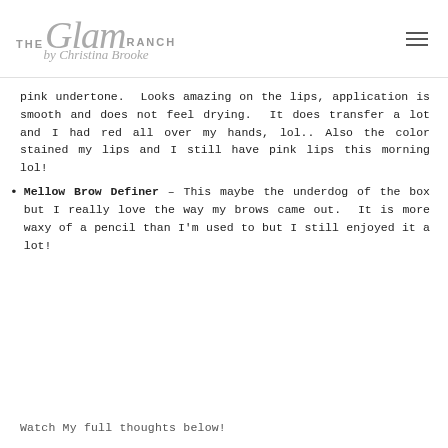THE Glam RANCH by Christina Brooke
pink undertone.  Looks amazing on the lips, application is smooth and does not feel drying.  It does transfer a lot and I had red all over my hands, lol.. Also the color stained my lips and I still have pink lips this morning lol!
Mellow Brow Definer – This maybe the underdog of the box but I really love the way my brows came out.  It is more waxy of a pencil than I'm used to but I still enjoyed it a lot!
Watch My full thoughts below!